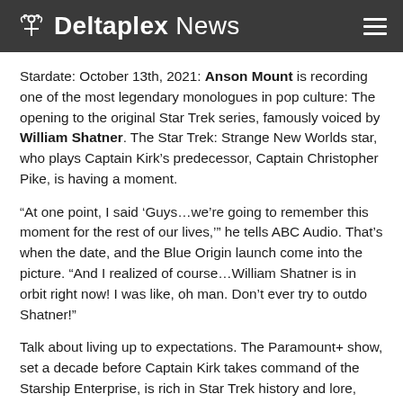Deltaplex News
Stardate: October 13th, 2021: Anson Mount is recording one of the most legendary monologues in pop culture: The opening to the original Star Trek series, famously voiced by William Shatner. The Star Trek: Strange New Worlds star, who plays Captain Kirk's predecessor, Captain Christopher Pike, is having a moment.
“At one point, I said ‘Guys…we’re going to remember this moment for the rest of our lives,’” he tells ABC Audio. That’s when the date, and the Blue Origin launch come into the picture. “And I realized of course…William Shatner is in orbit right now! I was like, oh man. Don’t ever try to outdo Shatner!”
Talk about living up to expectations. The Paramount+ show, set a decade before Captain Kirk takes command of the Starship Enterprise, is rich in Star Trek history and lore, showcasing new and classic characters like Mister Spock, played by Ethan Peck.